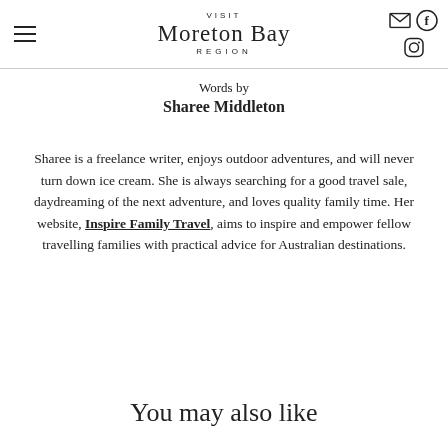VISIT Moreton Bay REGION
Words by
Sharee Middleton
Sharee is a freelance writer, enjoys outdoor adventures, and will never turn down ice cream. She is always searching for a good travel sale, daydreaming of the next adventure, and loves quality family time. Her website, Inspire Family Travel, aims to inspire and empower fellow travelling families with practical advice for Australian destinations.
You may also like